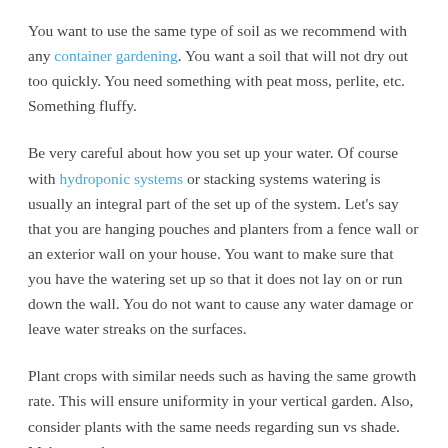You want to use the same type of soil as we recommend with any container gardening. You want a soil that will not dry out too quickly. You need something with peat moss, perlite, etc. Something fluffy.
Be very careful about how you set up your water. Of course with hydroponic systems or stacking systems watering is usually an integral part of the set up of the system. Let's say that you are hanging pouches and planters from a fence wall or an exterior wall on your house. You want to make sure that you have the watering set up so that it does not lay on or run down the wall. You do not want to cause any water damage or leave water streaks on the surfaces.
Plant crops with similar needs such as having the same growth rate. This will ensure uniformity in your vertical garden. Also, consider plants with the same needs regarding sun vs shade. Make sure that your